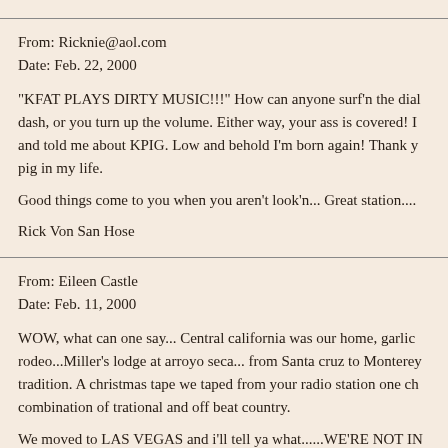From: Ricknie@aol.com
Date: Feb. 22, 2000
"KFAT PLAYS DIRTY MUSIC!!!" How can anyone surf'n the dial, dash, or you turn up the volume. Either way, your ass is covered! I and told me about KPIG. Low and behold I'm born again! Thank y pig in my life.
Good things come to you when you aren't look'n... Great station....
Rick Von San Hose
From: Eileen Castle
Date: Feb. 11, 2000
WOW, what can one say... Central california was our home, garlic rodeo...Miller's lodge at arroyo seca... from Santa cruz to Monterey tradition. A christmas tape we taped from your radio station one ch combination of trational and off beat country.
We moved to LAS VEGAS and i'll tell ya what......WE'RE NOT IN city... But these folks don't know real fun.... You should (or maybe